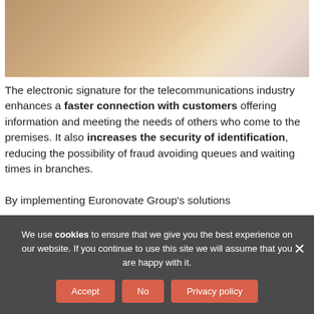[Figure (photo): A person working at a desk, hands visible, likely signing or writing a document — telecommunications/business context.]
The electronic signature for the telecommunications industry enhances a faster connection with customers offering information and meeting the needs of others who come to the premises. It also increases the security of identification, reducing the possibility of fraud avoiding queues and waiting times in branches.

By implementing Euronovate Group's solutions
We use cookies to ensure that we give you the best experience on our website. If you continue to use this site we will assume that you are happy with it.